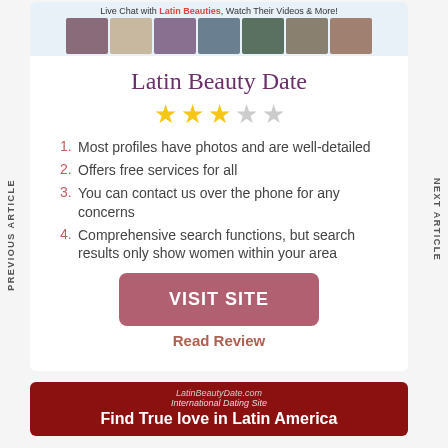[Figure (illustration): Banner with photos of women and text 'Live Chat with Latin Beauties, Watch Their Videos & More!']
Latin Beauty Date
[Figure (other): 3 filled gold stars and 2 empty gray stars rating]
1. Most profiles have photos and are well-detailed
2. Offers free services for all
3. You can contact us over the phone for any concerns
4. Comprehensive search functions, but search results only show women within your area
VISIT SITE
Read Review
[Figure (illustration): Dark red banner with LatinBeautyDate.com logo and text 'Find True love in Latin America']